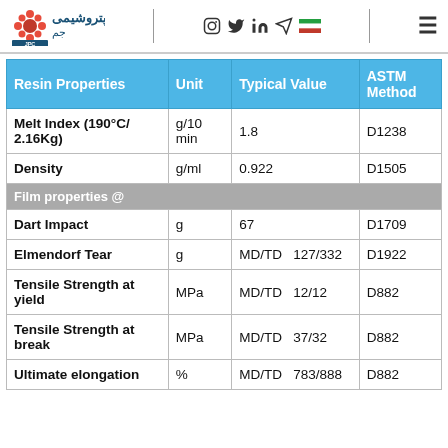JPC logo and navigation header with social icons
| Resin Properties | Unit | Typical Value | ASTM Method |
| --- | --- | --- | --- |
| Melt Index (190°C/ 2.16Kg) | g/10 min | 1.8 | D1238 |
| Density | g/ml | 0.922 | D1505 |
| Film properties @ |  |  |  |
| Dart Impact | g | 67 | D1709 |
| Elmendorf Tear | g | MD/TD  127/332 | D1922 |
| Tensile Strength at yield | MPa | MD/TD  12/12 | D882 |
| Tensile Strength at break | MPa | MD/TD  37/32 | D882 |
| Ultimate elongation | % | MD/TD  783/888 | D882 |